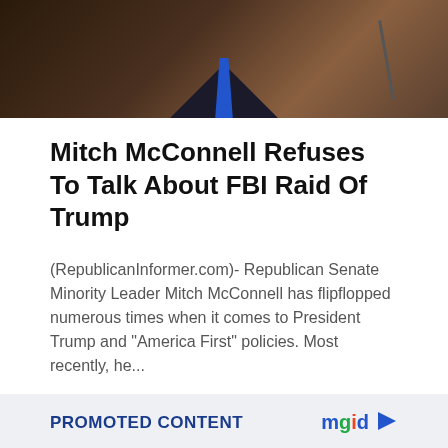[Figure (photo): Photo of a man in a dark suit with blue tie, partially visible at the top, with a microphone visible on the right side]
Mitch McConnell Refuses To Talk About FBI Raid Of Trump
(RepublicanInformer.com)- Republican Senate Minority Leader Mitch McConnell has flipflopped numerous times when it comes to President Trump and “America First” policies. Most recently, he...
PROMOTED CONTENT
[Figure (photo): Photo of a woman with dark hair against a purple/blurred background, cropped at top of page bottom section]